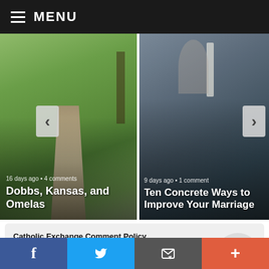MENU
[Figure (screenshot): Carousel card: outdoor garden path with trees. Caption: '16 days ago • 4 comments'. Title: 'Dobbs, Kansas, and Omelas']
[Figure (screenshot): Carousel card: blurred wedding/people scene. Caption: '9 days ago • 1 comment'. Title: 'Ten Concrete Ways to Improve Your Marriage']
Catholic Exchange Comment Policy
Treat everybody with kindness and charity. CE will remove anybody engaging in abuse or threats.